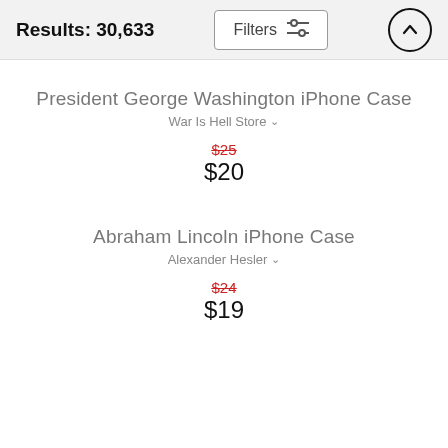Results: 30,633
President George Washington iPhone Case
War Is Hell Store
$25 $20
Abraham Lincoln iPhone Case
Alexander Hesler
$24 $19